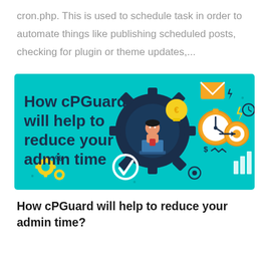cron.php. This is used to schedule task in order to automate things like publishing scheduled posts, checking for plugin or theme updates,...
[Figure (illustration): Teal/cyan colored banner image showing 'How cPGuard will help to reduce your admin time' with cartoon illustrations of a businessman at a laptop inside a gear, surrounded by icons including a clock, lightbulb, email envelope, target/bullseye, checkmark, lightning bolts, dollar sign, and chart bars.]
How cPGuard will help to reduce your admin time?